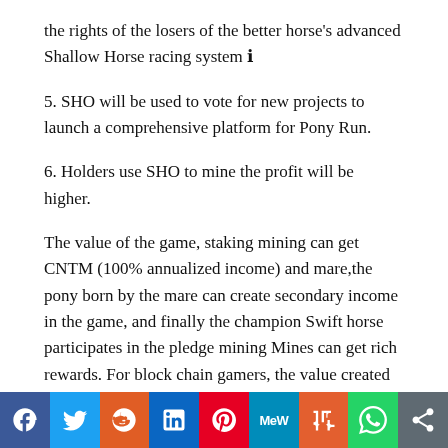the rights of the losers of the better horse's advanced Shallow Horse racing system ℹ
5. SHO will be used to vote for new projects to launch a comprehensive platform for Pony Run.
6. Holders use SHO to mine the profit will be higher.
The value of the game, staking mining can get CNTM (100% annualized income) and mare,the pony born by the mare can create secondary income in the game, and finally the champion Swift horse participates in the pledge mining Mines can get rich rewards. For block chain gamers, the value created by the game more than the game itself, both to experience the fun of the game, but also enjoy the game several times earnings.
[Figure (other): Social media sharing bar with icons: Facebook, Twitter, Reddit, LinkedIn, Pinterest, MeWe, Mix, WhatsApp, Share]